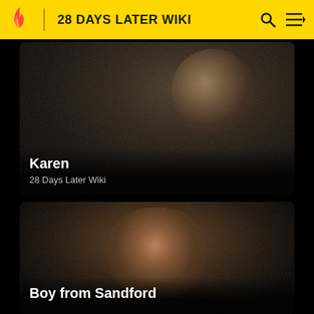28 DAYS LATER WIKI
[Figure (photo): Dark cinematic still of a woman (Karen) with light hair against a very dark background, screenshot from 28 Days Later Wiki page]
Karen
28 Days Later Wiki
[Figure (photo): Dark cinematic close-up of a young boy's face (Boy from Sandford), looking forward with a frightened expression, screenshot from 28 Days Later Wiki page]
Boy from Sandford